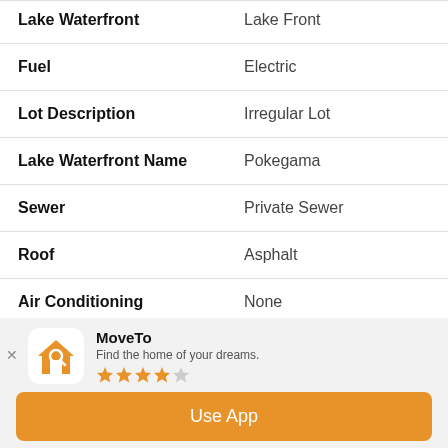| Property | Value |
| --- | --- |
| Lake Waterfront | Lake Front |
| Fuel | Electric |
| Lot Description | Irregular Lot |
| Lake Waterfront Name | Pokegama |
| Sewer | Private Sewer |
| Roof | Asphalt |
| Air Conditioning | None |
[Figure (logo): MoveTo app icon: orange house with a magnifying glass]
MoveTo
Find the home of your dreams.
★★★★☆
Use App